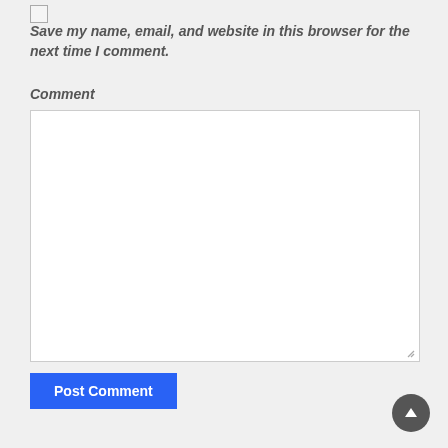[Figure (other): Unchecked checkbox input element]
Save my name, email, and website in this browser for the next time I comment.
Comment
[Figure (other): Large empty textarea for comment input with resize handle at bottom right]
[Figure (other): Blue 'Post Comment' button]
[Figure (other): Dark circular scroll-to-top button with upward arrow icon in bottom right corner]